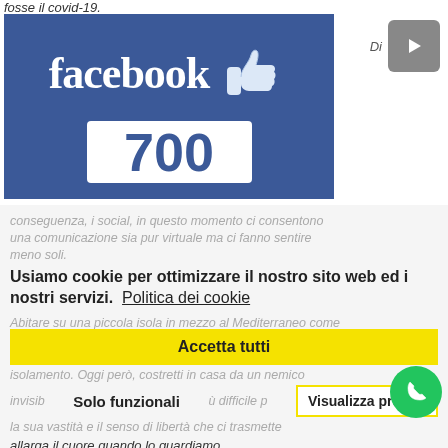fosse il covid-19.
[Figure (screenshot): Facebook logo with thumbs up like icon and the number 700 displayed prominently in a white box, on a dark blue background]
[Figure (other): Grey play button with label Di]
conseguenza, i social, in questo momento ci consentono una comunicazione sia pur virtuale ma ci fanno sentire meno soli.
Usiamo cookie per ottimizzare il nostro sito web ed i nostri servizi.  Politica dei cookie
Abitare su una piccola isola in mezzo al Mediterraneo come Lampedusa o Linosa, è in qualche modo una forma di isolamento. Oggi però, costretti in casa da un nemico invisibile è più difficile percepire la sua vastità e il senso di libertà che ci trasmette allarga il cuore quando lo guardiamo.
Accetta tutti
Solo funzionali
Visualizza preferenze